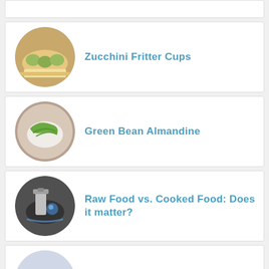[Figure (screenshot): Partial recipe card at top, cropped]
Zucchini Fritter Cups
Green Bean Almandine
Raw Food vs. Cooked Food: Does it matter?
Santa Strawberries
FREE Sugar-Free Desserts eBook (15 Recipes)
Enter your email
Send me a copy!